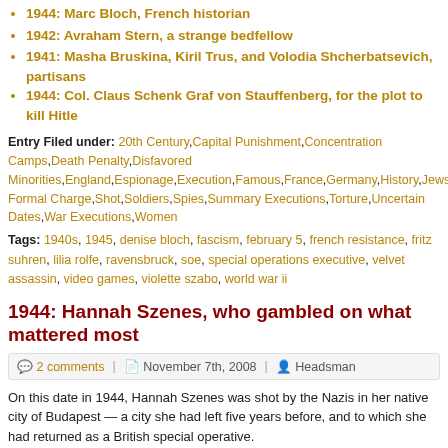1944: Marc Bloch, French historian
1942: Avraham Stern, a strange bedfellow
1941: Masha Bruskina, Kiril Trus, and Volodia Shcherbatsevich, partisans
1944: Col. Claus Schenk Graf von Stauffenberg, for the plot to kill Hitle…
Entry Filed under: 20th Century, Capital Punishment, Concentration Camps, Death Penalty, Disfavored Minorities, England, Espionage, Execution, Famous, France, Germany, History, Jews, No Formal Charge, Shot, Soldiers, Spies, Summary Executions, Torture, Uncertain Dates, War Executions, Women
Tags: 1940s, 1945, denise bloch, fascism, february 5, french resistance, fritz suhren, lilia…, rolfe, ravensbruck, soe, special operations executive, velvet assassin, video games, violette szabo, world war ii
1944: Hannah Szenes, who gambled on what mattered most
2 comments | November 7th, 2008 | Headsman
On this date in 1944, Hannah Szenes was shot by the Nazis in her native city of Budapest — a city she had left five years before, and to which she had returned as a British special operative.
Hannah Szenes (alternatively, "Chana Senesh" or "Hannah Senesh") grew up in interwar Hungary.
[Figure (photo): Black and white photograph of Hannah Szenes in military uniform, saluting]
Reaching adulthood in a period of rising anti-semitism in the late 1930's, she became a Zionist and emigrated to